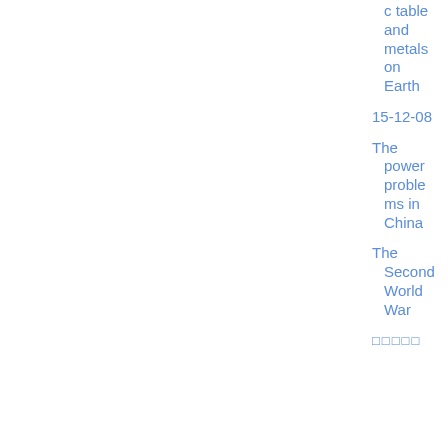c table and metals on Earth
15-12-08
The power problems in China
The Second World War
□□□□□